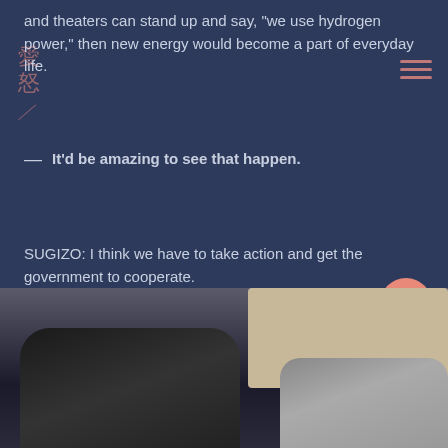and theaters can stand up and say, “we use hydrogen power,” then new energy would become a part of everyday life.
— It’d be amazing to see that happen.
SUGIZO: I think we have to take action and get the government to cooperate.
[Figure (photo): Photo of cars with trunks open in a parking area or showroom, one dark colored vehicle on the left and lighter vehicles on the right, with a building visible in the background.]